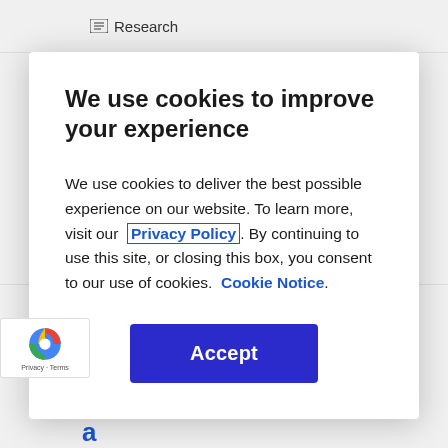Research
We use cookies to improve your experience
We use cookies to deliver the best possible experience on our website. To learn more, visit our  Privacy Policy . By continuing to use this site, or closing this box, you consent to our use of cookies.  Cookie Notice .
Accept
Webinar
anel Discussion: D&A Leaders uccess Stories on Building a